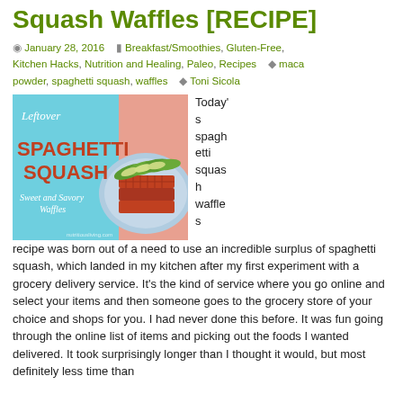Squash Waffles [RECIPE]
January 28, 2016   Breakfast/Smoothies, Gluten-Free, Kitchen Hacks, Nutrition and Healing, Paleo, Recipes   maca powder, spaghetti squash, waffles   Toni Sicola
[Figure (photo): Photo of spaghetti squash waffles topped with avocado slices on a blue plate, with text overlay: 'Leftover SPAGHETTI SQUASH Sweet and Savory Waffles']
Today's spaghetti squash waffles recipe was born out of a need to use an incredible surplus of spaghetti squash, which landed in my kitchen after my first experiment with a grocery delivery service. It's the kind of service where you go online and select your items and then someone goes to the grocery store of your choice and shops for you. I had never done this before. It was fun going through the online list of items and picking out the foods I wanted delivered. It took surprisingly longer than I thought it would, but most definitely less time than